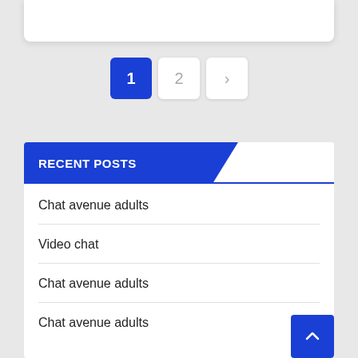[Figure (screenshot): Top portion of a white card/post snippet, partially visible at top of page]
1
2
>
RECENT POSTS
Chat avenue adults
Video chat
Chat avenue adults
Chat avenue adults